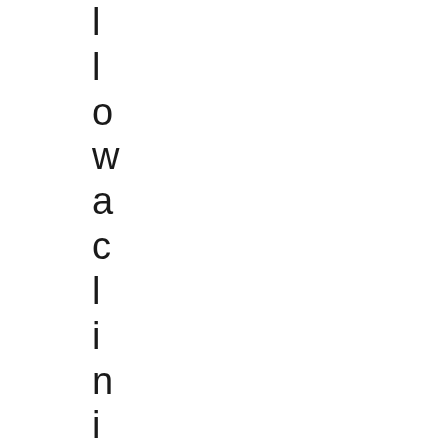l l o w a c l i n i c i a n t o